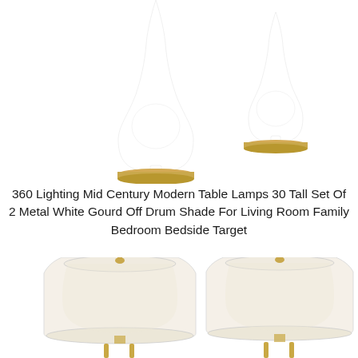[Figure (photo): Two mid-century modern white gourd-shaped table lamp bases with gold/brass circular bases shown without shades. Left lamp is larger/closer, right lamp is smaller/further away. White background.]
360 Lighting Mid Century Modern Table Lamps 30 Tall Set Of 2 Metal White Gourd Off Drum Shade For Living Room Family Bedroom Bedside Target
[Figure (photo): Two complete mid-century modern table lamps with large off-white drum shades and gold/brass hardware, shown side by side. White background.]